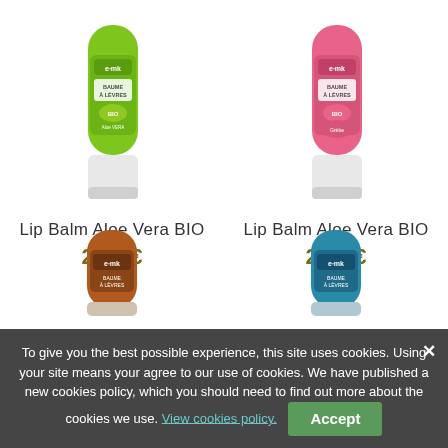[Figure (photo): Green lip balm stick product photo]
Lip Balm Aloe Vera BIO
2,90 €
[Figure (photo): Pink lip balm stick product photo]
Lip Balm Aloe Vera BIO
2,90 €
[Figure (photo): Orange/brown lip balm stick product photo (partially visible at bottom)]
[Figure (photo): Blue/teal lip balm stick product photo (partially visible at bottom)]
To give you the best possible experience, this site uses cookies. Using your site means your agree to our use of cookies. We have published a new cookies policy, which you should need to find out more about the cookies we use. View cookies policy.